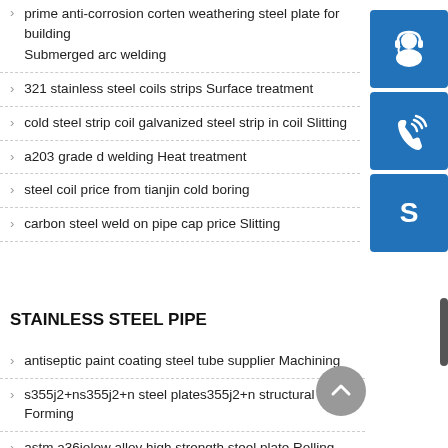prime anti-corrosion corten weathering steel plate for building Submerged arc welding
321 stainless steel coils strips Surface treatment
cold steel strip coil galvanized steel strip in coil Slitting
a203 grade d welding Heat treatment
steel coil price from tianjin cold boring
carbon steel weld on pipe cap price Slitting
[Figure (illustration): Three blue icon buttons stacked vertically: customer service headset icon, phone/call icon, Skype icon]
STAINLESS STEEL PIPE
antiseptic paint coating steel tube supplier Machining
s355j2+ns355j2+n steel plates355j2+n structural steel Forming
astm a36jolow alloy high strength steel plate Rolling